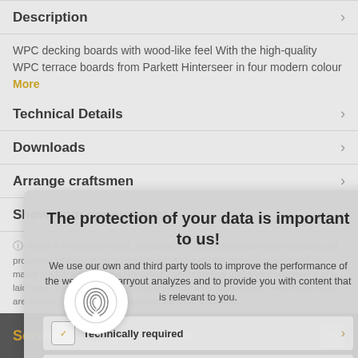Description
WPC decking boards with wood-like feel With the high-quality WPC terrace boards from Parkett Hinterseer in four modern colour More
Technical Details
Downloads
Arrange craftsmen
Showroom appointment
[Figure (screenshot): Cookie consent overlay popup: 'The protection of your data is important to us!' with options: Technically required, Statistics, Comfort features]
Wood is a natural product, variations in color and structure are inevitable and properties of the natural product wood. A sample therefore does not have to match the later delivery and therefore cannot convey the overall impression of a laid area. The same applies to the illustrations on this website / web shop, these are also to the representation of a sample.
Service  Comfort features